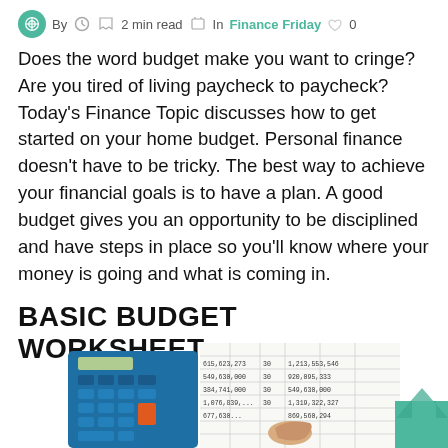By  2 min read  In Finance Friday  0
Does the word budget make you want to cringe? Are you tired of living paycheck to paycheck? Today’s Finance Topic discusses how to get started on your home budget. Personal finance doesn’t have to be tricky. The best way to achieve your financial goals is to have a plan. A good budget gives you an opportunity to be disciplined and have steps in place so you’ll know where your money is going and what is coming in.
BASIC BUDGET WORKSHEET
[Figure (photo): A blue calculator next to a financial spreadsheet with numbers, with a hand writing on the spreadsheet. A green upward arrow graphic is visible at the bottom right.]